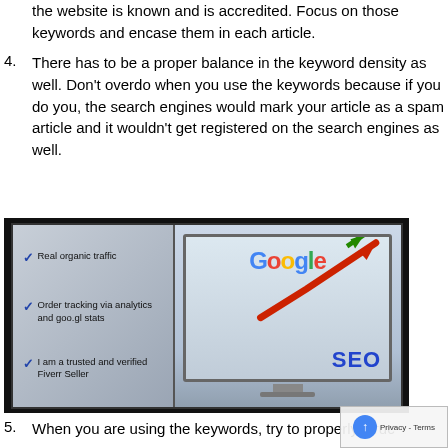the website is known and is accredited. Focus on those keywords and encase them in each article.
4. There has to be a proper balance in the keyword density as well. Don't overdo when you use the keywords because if you do you, the search engines would mark your article as a spam article and it wouldn't get registered on the search engines as well.
[Figure (illustration): SEO promotional image showing a monitor with Google logo and upward trending red arrow, alongside a checklist panel with items: Real organic traffic, Order tracking via analytics and goo.gl stats, I am a trusted and verified Fiverr Seller. Text SEO displayed prominently.]
5. When you are using the keywords, try to properly struc...